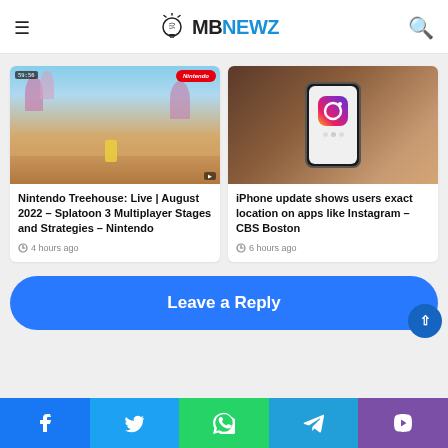MBNewz
likely specs, design, price and all other details
[Figure (photo): Nintendo Treehouse Live August 2022 Splatoon 3 gameplay screenshot with Nintendo badge]
Nintendo Treehouse: Live | August 2022 – Splatoon 3 Multiplayer Stages and Strategies – Nintendo
4 hours ago
[Figure (photo): Hand holding iPhone showing Instagram app icon on screen]
iPhone update shows users exact location on apps like Instagram – CBS Boston
6 hours ago
Leave a Reply